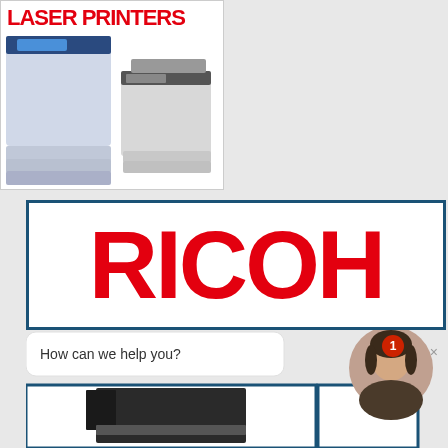[Figure (photo): Advertisement showing laser printers with red text 'LASER PRINTERS' at top left]
[Figure (logo): RICOH brand logo in large red bold text inside a dark blue border rectangle]
Office Printer Lease
[Figure (screenshot): Chat widget showing a speech bubble with 'How can we help you?' text, a numbered badge showing 1, and a woman avatar photo, with a bottom printer image box below]